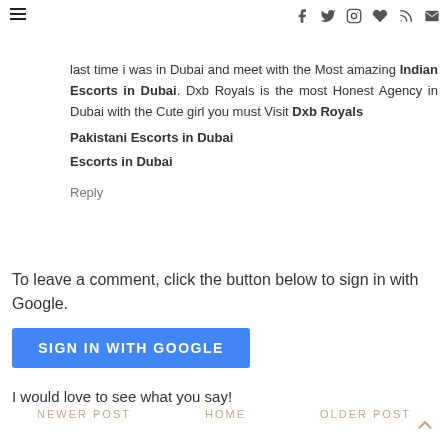Navigation and social icons header
last time i was in Dubai and meet with the Most amazing Indian Escorts in Dubai. Dxb Royals is the most Honest Agency in Dubai with the Cute girl you must Visit Dxb Royals
Pakistani Escorts in Dubai
Escorts in Dubai
Reply
To leave a comment, click the button below to sign in with Google.
[Figure (other): SIGN IN WITH GOOGLE button]
I would love to see what you say!
NEWER POST   HOME   OLDER POST